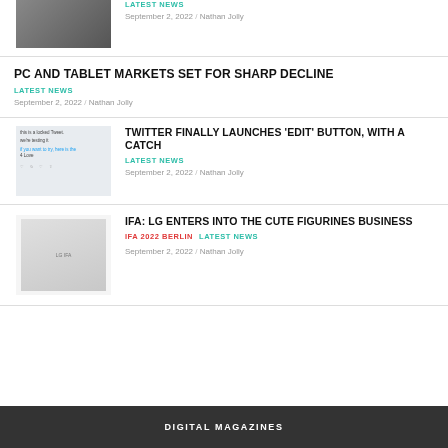[Figure (photo): Partial top image cropped at top of page, dark photo]
LATEST NEWS
September 2, 2022 / Nathan Jolly
PC AND TABLET MARKETS SET FOR SHARP DECLINE
LATEST NEWS
September 2, 2022 / Nathan Jolly
[Figure (screenshot): Twitter screenshot showing edit button tweet]
TWITTER FINALLY LAUNCHES ‘EDIT’ BUTTON, WITH A CATCH
LATEST NEWS
September 2, 2022 / Nathan Jolly
[Figure (photo): LG figurine next to LG appliances at IFA 2022]
IFA: LG ENTERS INTO THE CUTE FIGURINES BUSINESS
IFA 2022 BERLIN   LATEST NEWS
September 2, 2022 / Nathan Jolly
DIGITAL MAGAZINES